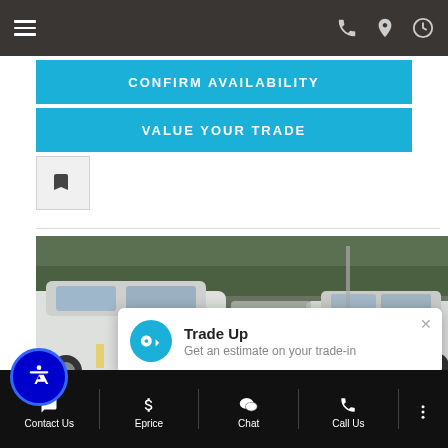[Figure (screenshot): Mobile website navigation bar with hamburger menu icon on left and phone, location pin, and clock icons on the right, dark brown background]
CONFIRM AVAILABILITY
VALUE YOUR TRADE
[Figure (screenshot): Save/bookmark icon button]
[Figure (photo): Car dealership lot with multiple white SUVs parked, trees visible in background]
Trade Up
Get an estimate on your trade-in
Contact Us
Eprice
Chat
Call Us